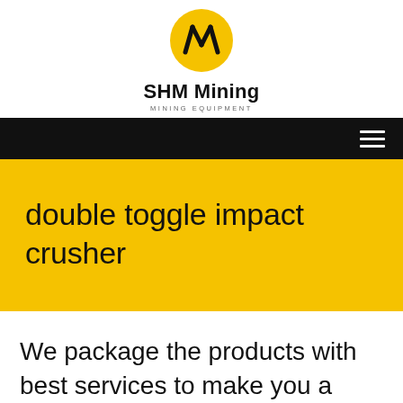[Figure (logo): SHM Mining logo: yellow circle with black diagonal lines/stripes forming a W shape]
SHM Mining
MINING EQUIPMENT
[Figure (other): Black navigation bar with white hamburger menu icon on the right]
double toggle impact crusher
We package the products with best services to make you a happy